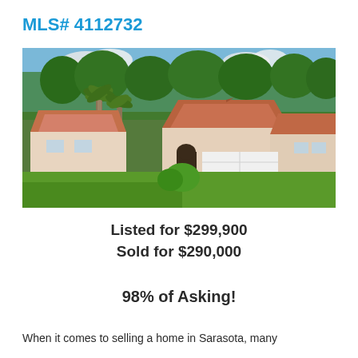MLS# 4112732
[Figure (photo): Aerial/elevated exterior photo of a Florida single-story home with terra cotta tile roof, white stucco exterior, two-car garage, palm trees, and lush landscaping.]
Listed for $299,900
Sold for $290,000
98% of Asking!
When it comes to selling a home in Sarasota, many